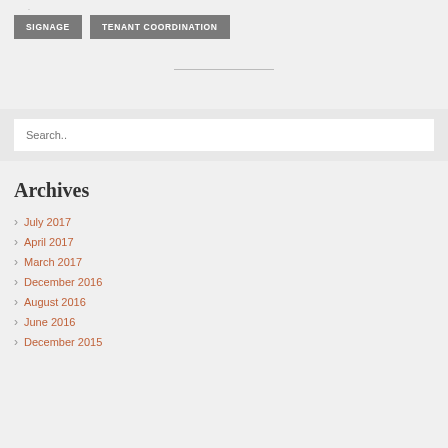·
SIGNAGE
TENANT COORDINATION
Search..
Archives
July 2017
April 2017
March 2017
December 2016
August 2016
June 2016
December 2015